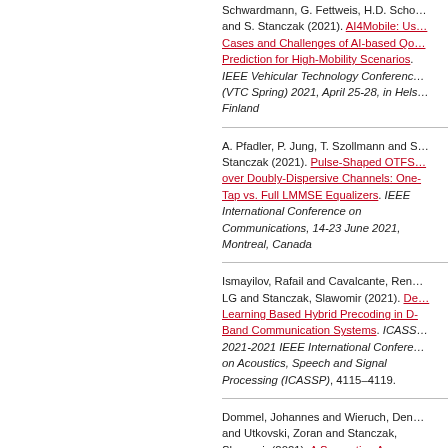Schwardmann, G. Fettweis, H.D. Schotten, and S. Stanczak (2021). AI4Mobile: Use Cases and Challenges of AI-based QoS Prediction for High-Mobility Scenarios. IEEE Vehicular Technology Conference (VTC Spring) 2021, April 25-28, in Helsinki, Finland
A. Pfadler, P. Jung, T. Szollmann and S. Stanczak (2021). Pulse-Shaped OTFS over Doubly-Dispersive Channels: One-Tap vs. Full LMMSE Equalizers. IEEE International Conference on Communications, 14-23 June 2021, Montreal, Canada
Ismayilov, Rafail and Cavalcante, Renato LG and Stanczak, Slawomir (2021). Deep Learning Based Hybrid Precoding in D-Band Communication Systems. ICASSP 2021-2021 IEEE International Conference on Acoustics, Speech and Signal Processing (ICASSP), 4115–4119.
Dommel, Johannes and Wieruch, Dennis and Utkovski, Zoran and Stanczak, Slawomir (2021). A Semantics-Aware Communication Scheme to Estimate the...